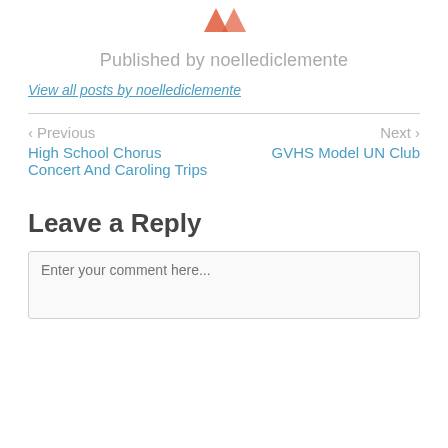[Figure (logo): Partial logo/icon in red/orange at the top center]
Published by noellediclemente
View all posts by noellediclemente
< Previous
High School Chorus Concert And Caroling Trips
Next >
GVHS Model UN Club
Leave a Reply
Enter your comment here...